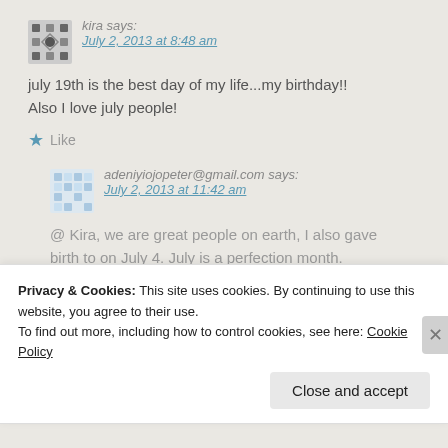kira says: July 2, 2013 at 8:48 am
july 19th is the best day of my life...my birthday!! Also I love july people!
Like
adeniyiojopeter@gmail.com says: July 2, 2013 at 11:42 am
@ Kira, we are great people on earth, I also gave birth to on July 4. July is a perfection month. Here is my name on facebook Peter Adeniyi Ojo.
Privacy & Cookies: This site uses cookies. By continuing to use this website, you agree to their use. To find out more, including how to control cookies, see here: Cookie Policy
Close and accept